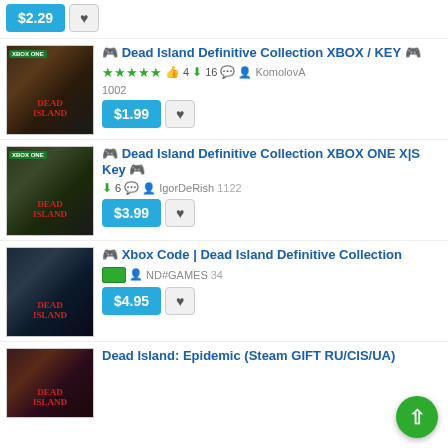$2.29 button with wishlist
🎮 Dead Island Definitive Collection XBOX / KEY 🎮 — ★★★★★ 4 likes, 16 downloads, KomolovA 1002 — $1.99
🎮 Dead Island Definitive Collection XBOX ONE X|S Key 🎮 — 6 downloads, IgorDeRish 1122 — $3.99
🎮 Xbox Code | Dead Island Definitive Collection — ND#GAMES 34 — $4.95
Dead Island: Epidemic (Steam GIFT RU/CIS/UA)